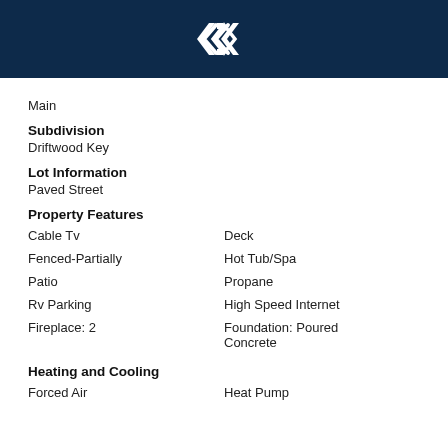[Figure (logo): White diamond/arrow logo on dark navy background header bar]
Main
Subdivision
Driftwood Key
Lot Information
Paved Street
Property Features
Cable Tv
Deck
Fenced-Partially
Hot Tub/Spa
Patio
Propane
Rv Parking
High Speed Internet
Fireplace: 2
Foundation: Poured Concrete
Heating and Cooling
Forced Air
Heat Pump